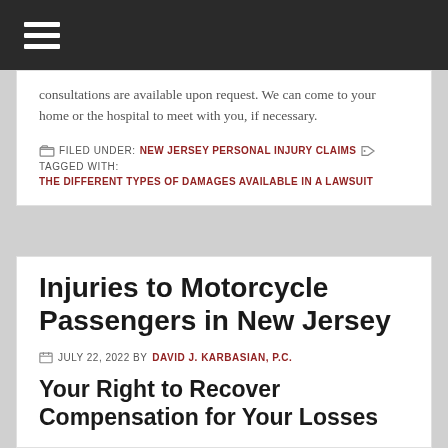Navigation menu
consultations are available upon request. We can come to your home or the hospital to meet with you, if necessary.
FILED UNDER: NEW JERSEY PERSONAL INJURY CLAIMS  TAGGED WITH: THE DIFFERENT TYPES OF DAMAGES AVAILABLE IN A LAWSUIT
Injuries to Motorcycle Passengers in New Jersey
JULY 22, 2022 BY DAVID J. KARBASIAN, P.C.
Your Right to Recover Compensation for Your Losses